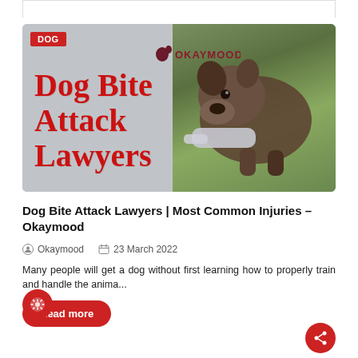[Figure (illustration): Article thumbnail image showing a puppy biting a cloth/rope, with red text 'Dog Bite Attack Lawyers' overlaid on a grey/green background. OkayMood logo visible in top center. Red 'DOG' badge top left.]
Dog Bite Attack Lawyers | Most Common Injuries - Okaymood
Okaymood   23 March 2022
Many people will get a dog without first learning how to properly train and handle the anima...
Read more